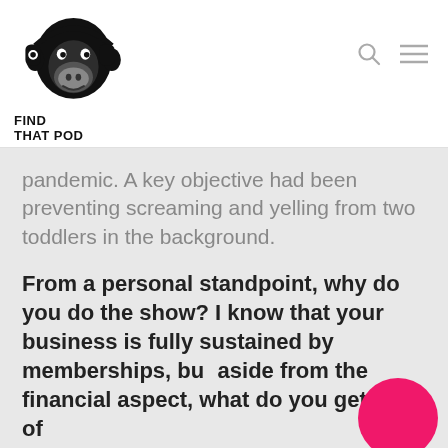[Figure (logo): Find That Pod logo: black silhouette of a monkey with headphones, text 'FIND THAT POD' below]
pandemic. A key objective had been preventing screaming and yelling from two toddlers in the background.
From a personal standpoint, why do you do the show? I know that your business is fully sustained by memberships, but aside from the financial aspect, what do you get out of